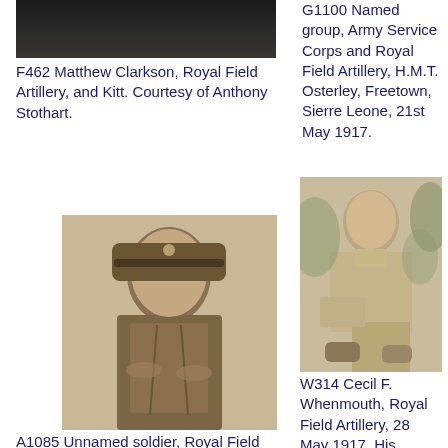[Figure (photo): Partial top of a dark photograph, cropped at top of page]
F462 Matthew Clarkson, Royal Field Artillery, and Kitt. Courtesy of Anthony Stothart.
G1100 Named group, Army Service Corps and Royal Field Artillery, H.M.T. Osterley, Freetown, Sierre Leone, 21st May 1917.
[Figure (photo): Sepia portrait photograph of an unnamed soldier in Royal Field Artillery uniform with cap and braided lanyard]
A1085 Unnamed soldier, Royal Field Artillery. Courtesy of David
[Figure (photo): Sepia photograph of Cecil F. Whenmouth seated outdoors on a rock in civilian clothes]
W314 Cecil F. Whenmouth, Royal Field Artillery, 28 May 1917. His brother Charles, 23rd Battalion, also...